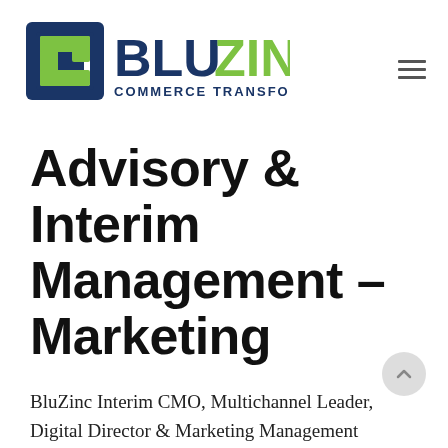[Figure (logo): BluZinc Commerce Transformation logo — stylized blue square bracket icon on left, 'BLU' in dark navy bold and 'ZINC' in green bold large text, 'COMMERCE TRANSFORMATION' in dark navy caps smaller text below]
Advisory & Interim Management – Marketing
BluZinc Interim CMO, Multichannel Leader, Digital Director & Marketing Management professionals with an exceptional industry track record to support the Chief Office in times of need.
BluZinc Senior CMO Consultants offer a successful track record operating above expectation within the worlds most